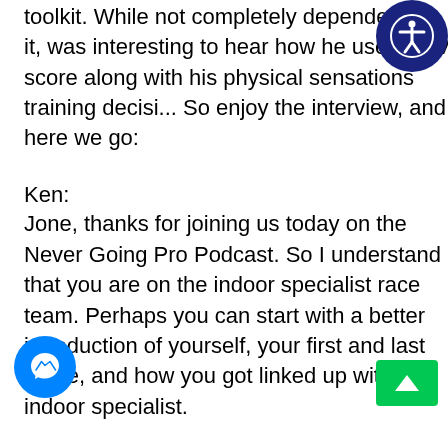toolkit. While not completely dependent on it, was interesting to hear how he uses HRV score along with his physical sensations training decisi... So enjoy the interview, and here we go:
Ken:
Jone, thanks for joining us today on the Never Going Pro Podcast. So I understand that you are on the indoor specialist race team. Perhaps you can start with a better introduction of yourself, your first and last name, and how you got linked up with indoor specialist.
Jone:
Yeah thanks. Glad to be here. My name is Jone Gravdal. [inaudible 00:31:02] It started a long time ago, it was a coincidence. I was racing for a team c... NC. We were racing CBR world cup le... And one morning we did a race in Lon... and we were two teammates up front and the